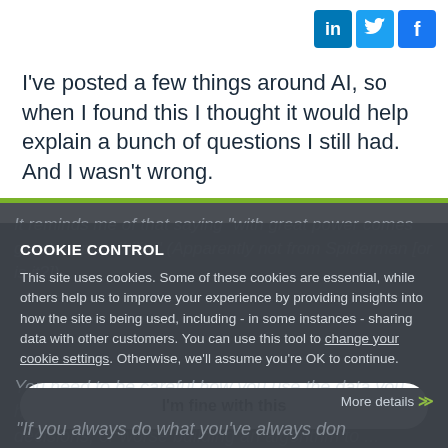[Figure (other): Social media icons: LinkedIn, Twitter, Facebook - top right corner]
I've posted a few things around AI, so when I found this I thought it would help explain a bunch of questions I still had.  And I wasn't wrong.
It reminds me of that saying "with great power comes great responsibility" (Apparently not from Spiderman [or is it?]) ...
COOKIE CONTROL
This site uses cookies. Some of these cookies are essential, while others help us to improve your experience by providing insights into how the site is being used, including - in some instances - sharing data with other customers. You can use this tool to change your cookie settings. Otherwise, we'll assume you're OK to continue.
I'm fine with this
More details
"If you always do what you've always done, you'll always get what you've always gotten."